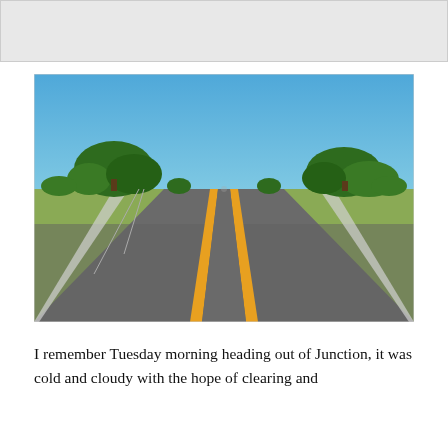[Figure (photo): A straight two-lane rural highway stretching to the horizon, with double yellow center lines, green trees on both sides under a clear blue sky. Texas landscape.]
I remember Tuesday morning heading out of Junction, it was cold and cloudy with the hope of clearing and